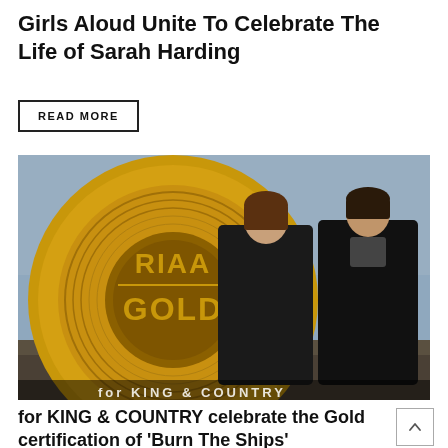Girls Aloud Unite To Celebrate The Life of Sarah Harding
READ MORE
[Figure (photo): A RIAA Gold record certification image overlaid with two men standing on a rocky beach in dark coats, with text at the bottom partially visible reading 'for KING & COUNTRY']
for KING & COUNTRY celebrate the Gold certification of 'Burn The Ships'